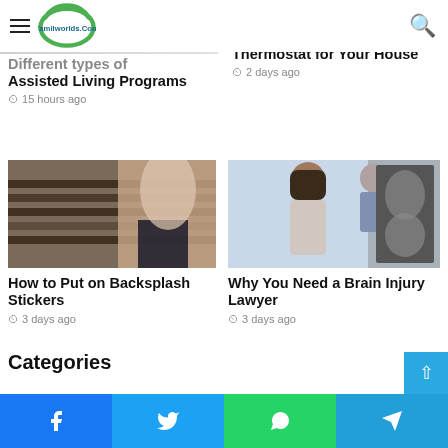Tamilworlds.Com
[Figure (photo): Partial top image left — different types of assisted living programs article thumbnail]
Different types of
Assisted Living Programs
15 hours ago
[Figure (photo): Partial top image right — 4 reasons to get a smart thermostat article thumbnail]
4 Reasons to Get a Smart Thermostat for Your House
2 days ago
[Figure (photo): Person holding backsplash tile sticker samples in a kitchen]
How to Put on Backsplash Stickers
3 days ago
[Figure (photo): Woman (doctor or patient) looking at brain scan MRI images on a lightboard]
Why You Need a Brain Injury Lawyer
3 days ago
Categories
Facebook  Twitter  WhatsApp  Telegram